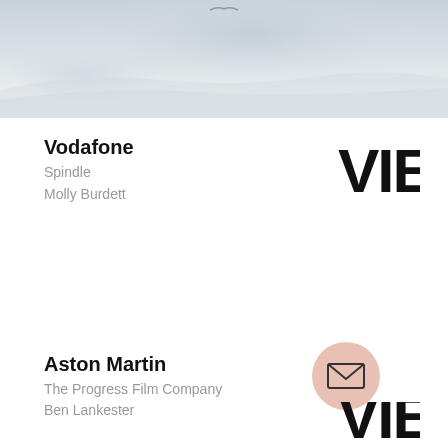[Figure (photo): Faded landscape or sky photograph at top of page, light grey-blue tones]
Vodafone
Spindle
Molly Burdett
[Figure (logo): VIEW logo in bold black compressed font, top right]
Aston Martin
The Progress Film Company
Ben Lankester
[Figure (logo): VIEW logo in bold black compressed font, bottom right, partially cropped]
[Figure (illustration): Pink circle button with envelope/mail icon]